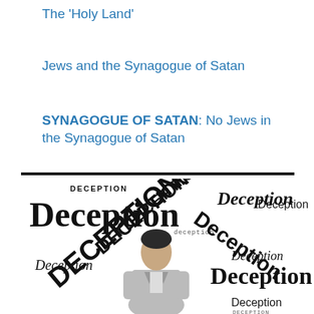The ‘Holy Land’
Jews and the Synagogue of Satan
SYNAGOGUE OF SATAN: No Jews in the Synagogue of Satan
[Figure (illustration): Word cloud image showing the word 'Deception' repeated many times in various fonts, sizes, styles and orientations. A man in a grey suit is seen from behind, surrounded by the word cloud.]